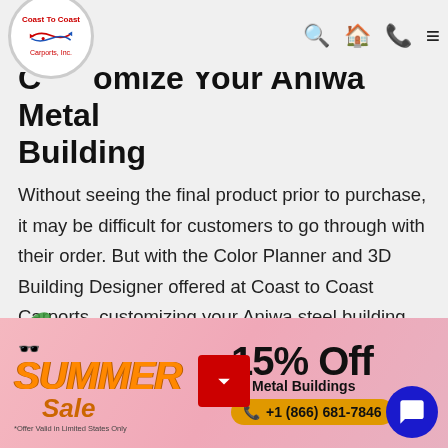Coast To Coast Carports, Inc. — navigation header
Customize Your Aniwa Metal Building
Without seeing the final product prior to purchase, it may be difficult for customers to go through with their order. But with the Color Planner and 3D Building Designer offered at Coast to Coast Carports, customizing your Aniwa steel building has never been easier! From the color of your room, to the doors and windows, you have full control over the aesthetics of your structure. Oh, and did we mention you can do all this from the comfort of your home. That's
[Figure (infographic): Summer Sale banner — SUMMER Sale 15% Off on Metal Buildings, *Offer Valid in Limited States Only, +1 (866) 681-7846]